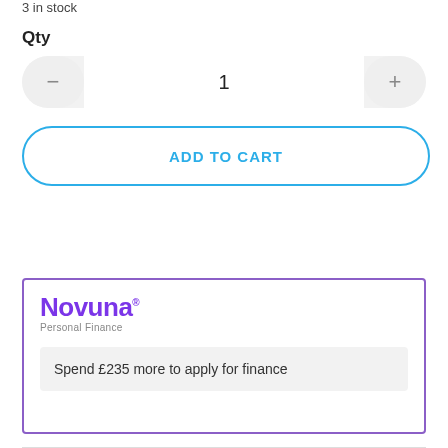3 in stock
Qty
[Figure (other): Quantity selector with minus button, value 1, and plus button]
ADD TO CART
[Figure (other): Novuna Personal Finance promotional box with message: Spend £235 more to apply for finance]